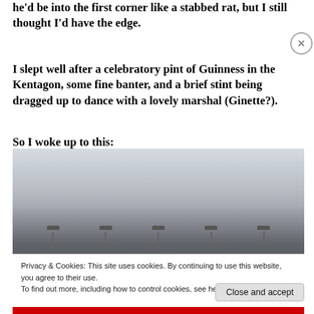he'd be into the first corner like a stabbed rat, but I still thought I'd have the edge.
I slept well after a celebratory pint of Guinness in the Kentagon, some fine banter, and a brief stint being dragged up to dance with a lovely marshal (Ginette?).
So I woke up to this:
[Figure (photo): A foggy, misty view of what appears to be a motorsport circuit or stadium, with light poles visible at the bottom through thick fog or mist.]
Privacy & Cookies: This site uses cookies. By continuing to use this website, you agree to their use.
To find out more, including how to control cookies, see here: Cookie Policy
Close and accept